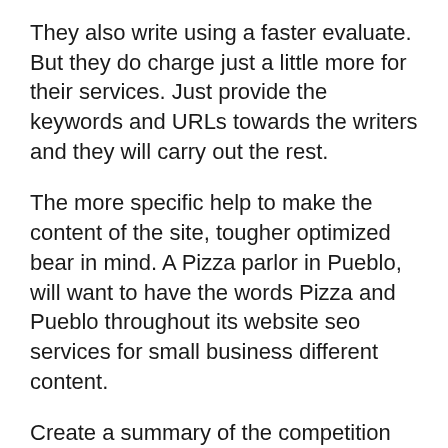They also write using a faster evaluate. But they do charge just a little more for their services. Just provide the keywords and URLs towards the writers and they will carry out the rest.
The more specific help to make the content of the site, tougher optimized bear in mind. A Pizza parlor in Pueblo, will want to have the words Pizza and Pueblo throughout its website seo services for small business different content.
Create a summary of the competition so may track how well you’re progressing against these small business seo services. Then use Yahoo’s site explore uncover and analyze their back-link strategy.